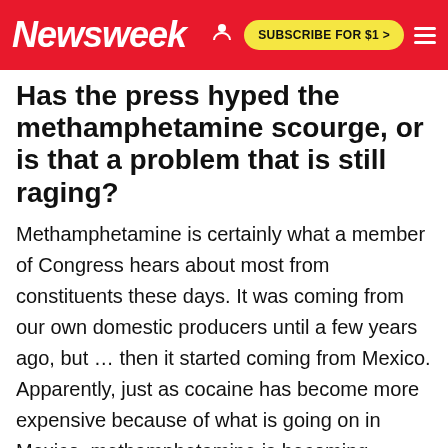Newsweek | SUBSCRIBE FOR $1 >
Has the press hyped the methamphetamine scourge, or is that a problem that is still raging?
Methamphetamine is certainly what a member of Congress hears about most from constituents these days. It was coming from our own domestic producers until a few years ago, but … then it started coming from Mexico. Apparently, just as cocaine has become more expensive because of what is going on in Mexico, methamphetamine is becoming somewhat harder to obtain also.